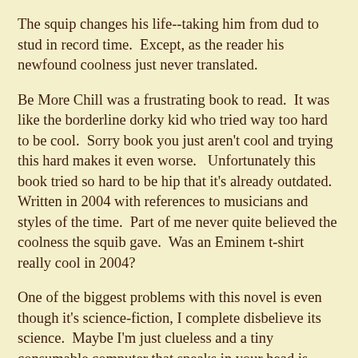The squip changes his life--taking him from dud to stud in record time.  Except, as the reader his newfound coolness just never translated.
Be More Chill was a frustrating book to read.  It was like the borderline dorky kid who tried way too hard to be cool.  Sorry book you just aren't cool and trying this hard makes it even worse.   Unfortunately this book tried so hard to be hip that it's already outdated.  Written in 2004 with references to musicians and styles of the time.  Part of me never quite believed the coolness the squib gave.  Was an Eminem t-shirt really cool in 2004?
One of the biggest problems with this novel is even though it's science-fiction, I complete disbelieve its science.  Maybe I'm just clueless and a tiny consumable computer that speaks in your head is really technologically feasible.  But I don't know--a computer that you eat and then somehow lodges itself in your brain?  Is that really supposed to feel plausible?  Also the book occasionally made the mistake of giving the computer near-humanity.  At one point the computer actually apologized.  How can a computer feel